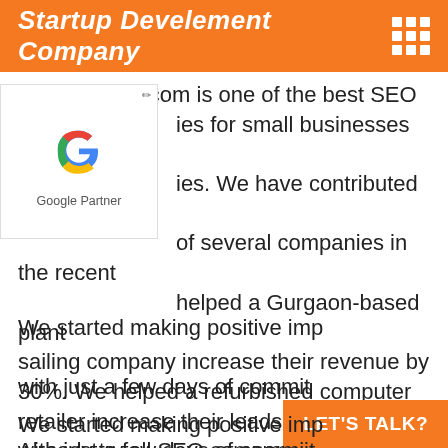Startup Develement Company
[Figure (logo): Google Partner badge with Google G logo]
Promoteabhi.com is one of the best SEO companies for small businesses and large companies. We have contributed to the growth of several companies in the recent past, helped a Gurgaon-based plant sailing company increase their revenue by 30%. We helped a refurbished computer retailer increase their leads by 1,500%. Already try all SEO company in Burhanpur but this result is not given by others! The work of Chandan and the team has been exemplary.
We started making positive impact with just a few days of commitment
LET'S TALK?